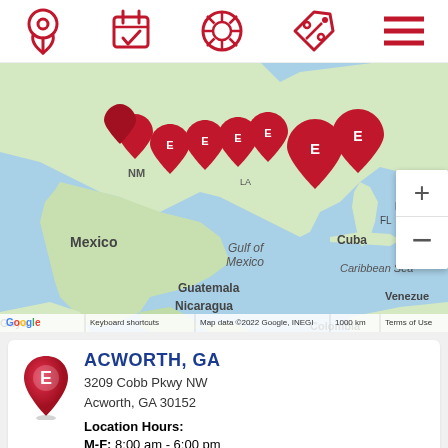[Figure (screenshot): Mobile app navigation bar with 5 red icons: location pin, calendar/appointment, tire/wheel, discount tag, and hamburger menu]
[Figure (map): Google Map showing North America and Central America with multiple red Enyia/E-branded location pins clustered in the southern US region. Map labels include Mexico, Gulf of Mexico, Cuba, Puerto Rico, Guatemala, Caribbean Sea, Nicaragua, Venezuela, Colombia, Guyana. Map attribution: Map data ©2022 Google, INEGI, 1000 km scale, Keyboard shortcuts, Terms of Use.]
ACWORTH, GA
3209 Cobb Pkwy NW
Acworth, GA 30152
Location Hours:
M-F: 8:00 am - 6:00 pm
Sat: 8:00 am - 5:00 pm